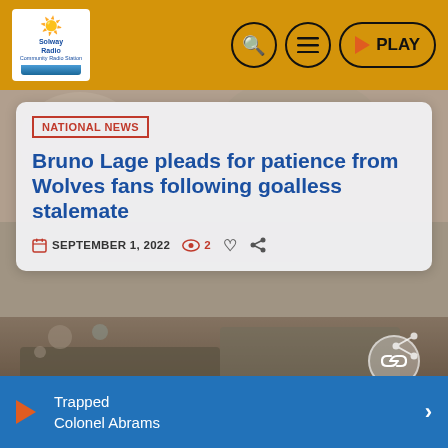Solway Radio — header navigation bar
[Figure (screenshot): Background photo partially visible above article card — blurred crowd/scene]
NATIONAL NEWS
Bruno Lage pleads for patience from Wolves fans following goalless stalemate
SEPTEMBER 1, 2022  2
[Figure (photo): Photo of military vehicle / Trapped scene with people and machinery]
Trapped
Colonel Abrams